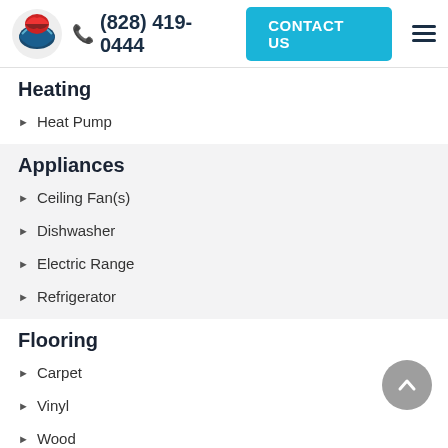(828) 419-0444 | CONTACT US
Heating
Heat Pump
Appliances
Ceiling Fan(s)
Dishwasher
Electric Range
Refrigerator
Flooring
Carpet
Vinyl
Wood
Interior
Cable Available